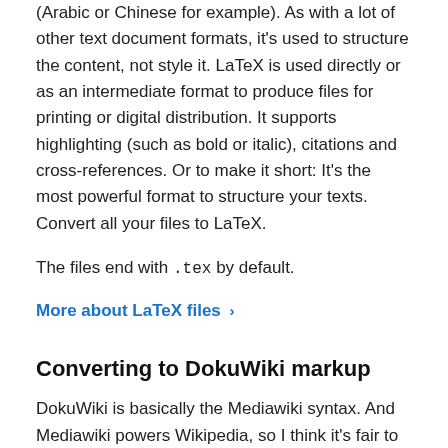(Arabic or Chinese for example). As with a lot of other text document formats, it's used to structure the content, not style it. LaTeX is used directly or as an intermediate format to produce files for printing or digital distribution. It supports highlighting (such as bold or italic), citations and cross-references. Or to make it short: It's the most powerful format to structure your texts. Convert all your files to LaTeX.
The files end with .tex by default.
More about LaTeX files ›
Converting to DokuWiki markup
DokuWiki is basically the Mediawiki syntax. And Mediawiki powers Wikipedia, so I think it's fair to say it's a widely used format. The DokuWiki system is based on PHP and uses plain text files, instead of a database. With